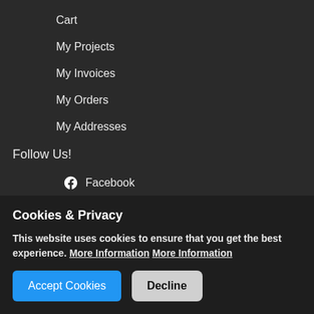Cart
My Projects
My Invoices
My Orders
My Addresses
Follow Us!
Facebook
Instagram
Snapchat
Twitter
YouTube
Cookies & Privacy
This website uses cookies to ensure that you get the best experience. More Information More Information
Accept Cookies   Decline